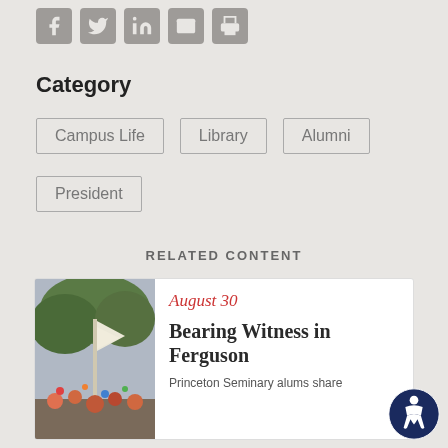[Figure (other): Social media sharing icons: Facebook, Twitter, LinkedIn, Email, Print]
Category
Campus Life
Library
Alumni
President
RELATED CONTENT
[Figure (photo): Photo of a colorful outdoor gathering with flags and people]
August 30
Bearing Witness in Ferguson
Princeton Seminary alums share